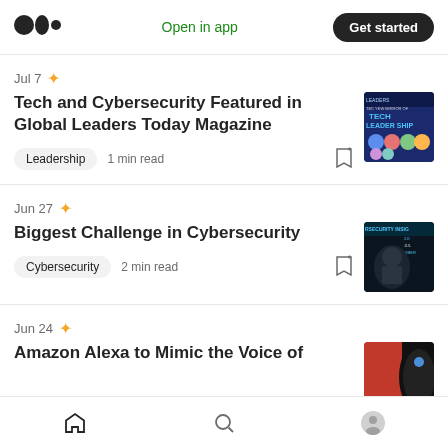Medium logo | Open in app | Get started
Jul 7 ★
Tech and Cybersecurity Featured in Global Leaders Today Magazine
Leadership  1 min read
[Figure (photo): Tech Leadership magazine cover showing group portraits on blue background]
Jun 27 ★
Biggest Challenge in Cybersecurity
Cybersecurity  2 min read
[Figure (photo): Cybersecurity Insights thumbnail showing a man in dark background with teal text overlay]
Jun 24 ★
Amazon Alexa to Mimic the Voice of
[Figure (photo): Amazon Echo device partial view on red background]
Home | Search | Profile